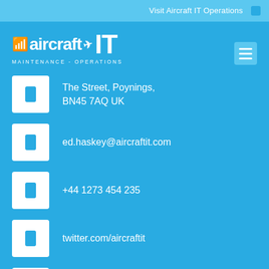Visit Aircraft IT Operations
[Figure (logo): Aircraft IT Maintenance-Operations logo with wifi symbol and airplane icon]
The Street, Poynings, BN45 7AQ UK
ed.haskey@aircraftit.com
+44 1273 454 235
twitter.com/aircraftit
linkedin.com/company/aircraft-it